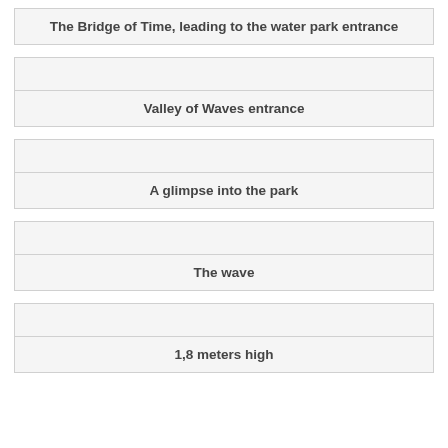The Bridge of Time, leading to the water park entrance
[Figure (photo): Photo placeholder for Valley of Waves entrance]
Valley of Waves entrance
[Figure (photo): Photo placeholder for A glimpse into the park]
A glimpse into the park
[Figure (photo): Photo placeholder for The wave]
The wave
[Figure (photo): Photo placeholder for 1,8 meters high]
1,8 meters high